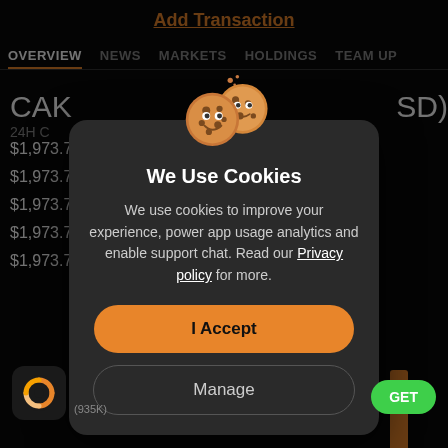Add Transaction
OVERVIEW  NEWS  MARKETS  HOLDINGS  TEAM UP
CAK ... SD)  24H C
$1,973.76  $1,973.76  $1,973.76  $1,973.76  $1,973.76
[Figure (screenshot): Cookie consent modal dialog over a dark financial app background. The modal has a cookie emoji illustration at the top, bold title 'We Use Cookies', descriptive text about cookies usage with a Privacy policy link, an orange 'I Accept' button, and a dark outlined 'Manage' button.]
We Use Cookies
We use cookies to improve your experience, power app usage analytics and enable support chat. Read our Privacy policy for more.
I Accept
Manage
(935K)
GET